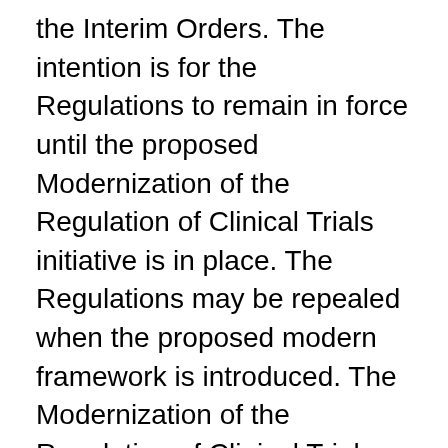the Interim Orders. The intention is for the Regulations to remain in force until the proposed Modernization of the Regulation of Clinical Trials initiative is in place. The Regulations may be repealed when the proposed modern framework is introduced. The Modernization of the Regulation of Clinical Trials initiative is a commitment under the Health and Biosciences Sector Regulatory Review Roadmap and is listed under Health Canada's Forward Regulatory Plan.